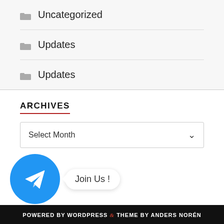Uncategorized
Updates
Updates
ARCHIVES
Select Month
[Figure (logo): Telegram logo circle with paper plane icon and 'Join Us!' speech bubble]
POWERED BY WORDPRESS & THEME BY ANDERS NORÉN